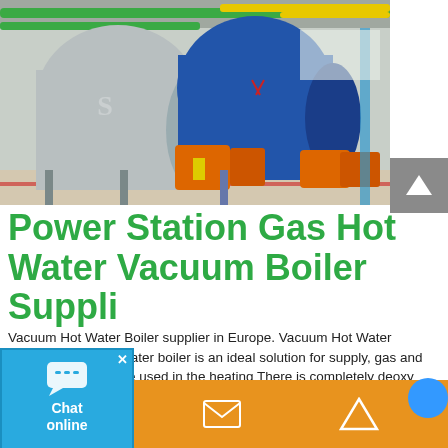[Figure (photo): Industrial boiler room with large cylindrical boilers — silver/stainless steel and blue tanks with orange burner units, green and yellow pipes overhead, in a factory setting.]
Power Station Gas Hot Water Vacuum Boiler Suppli
Vacuum Hot Water Boiler supplier in Europe. Vacuum Hot Water Boiler Vacuum hot water boiler is an ideal solution for supply, gas and oil are available to be used in the heating There is completely deoxy purified water in the furnace, so no corrosion and incrustation.
[Figure (other): Chat online widget — blue background with speech bubble icon, 'Chat online' text label.]
Phone icon, Email icon, Up-arrow icon — orange footer bar with contact icons.